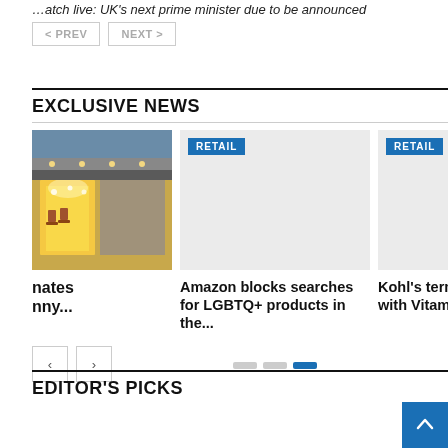…atch live: UK's next prime minister due to be announced
< PREV   NEXT >
EXCLUSIVE NEWS
[Figure (photo): Storefront with warm interior lights, restaurant/retail exterior at dusk]
nates
nny...
[Figure (photo): Placeholder image for retail article about Amazon blocking LGBTQ+ searches]
Amazon blocks searches for LGBTQ+ products in the...
[Figure (photo): Placeholder image for retail article about Kohl's termination with Vitamin S]
Kohl's terminat… with Vitamin S…
EDITOR'S PICKS